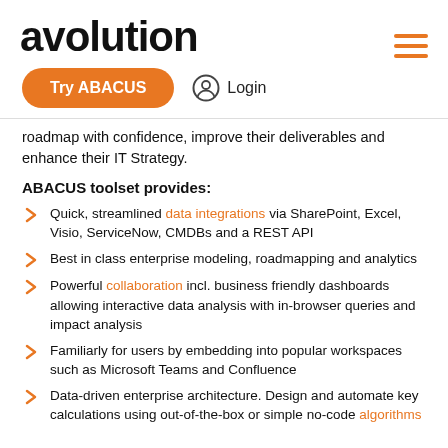avolution
Try ABACUS  Login
roadmap with confidence, improve their deliverables and enhance their IT Strategy.
ABACUS toolset provides:
Quick, streamlined data integrations via SharePoint, Excel, Visio, ServiceNow, CMDBs and a REST API
Best in class enterprise modeling, roadmapping and analytics
Powerful collaboration incl. business friendly dashboards allowing interactive data analysis with in-browser queries and impact analysis
Familiarly for users by embedding into popular workspaces such as Microsoft Teams and Confluence
Data-driven enterprise architecture. Design and automate key calculations using out-of-the-box or simple no-code algorithms